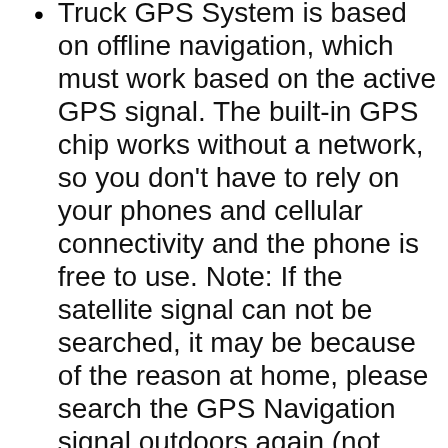Truck GPS System is based on offline navigation, which must work based on the active GPS signal. The built-in GPS chip works without a network, so you don't have to rely on your phones and cellular connectivity and the phone is free to use. Note: If the satellite signal can not be searched, it may be because of the reason at home, please search the GPS Navigation signal outdoors again (not including SD/TF card)
【NAVIGATION FEATURES】 1.Auto turn ON when power connected. Auto shut down when power removed 2. Provide 7 vehicle modes support, cars, trucks, bicycles, buses, ambulances, taxis and walking routes and special HGV